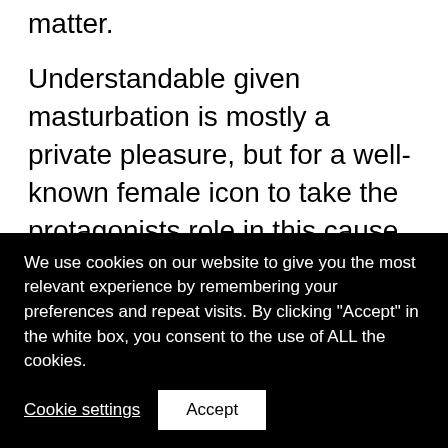matter.
Understandable given masturbation is mostly a private pleasure, but for a well-known female icon to take the protagonists role in this cause, is a respectfully brave move and one she states she is relishing. Not because it’s sensationalist she adds, but because it needs to be normalized with the stigma removed, so women who experience difficulty orgasming in both partner and self-pleasure moments, may
We use cookies on our website to give you the most relevant experience by remembering your preferences and repeat visits. By clicking “Accept” in the white box, you consent to the use of ALL the cookies.
Cookie settings
Accept